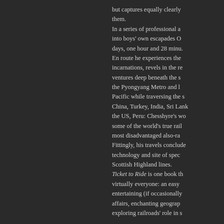but captures equally clearly them. In a series of professional a into boys' own escapades O days, one hour and 28 minu. En route he experiences the incarnations, revels in the re ventures deep beneath the s the Pyongyang Metro and l Pacific while traversing the s China, Turkey, India, Sri Lank the US, Peru: Chesshyre's wo some of the world's true rail most disadvantaged also-ra Fittingly, his travels conclude technology and site of spec Scottish Highland lines. Ticket to Ride is one book th virtually everyone: an easy entertaining (if occasionally affairs, enchanting geograp exploring railroads' role in s